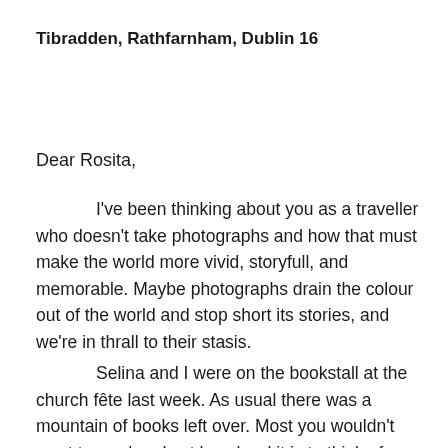Tibradden, Rathfarnham, Dublin 16
Dear Rosita,
I've been thinking about you as a traveller who doesn't take photographs and how that must make the world more vivid, storyfull, and memorable. Maybe photographs drain the colour out of the world and stop short its stories, and we're in thrall to their stasis.
Selina and I were on the bookstall at the church fête last week. As usual there was a mountain of books left over. Most you wouldn't want to read and yet how hard it is to think of any of them, even the very worst, being unread. All those printed stories, someone's imagination,